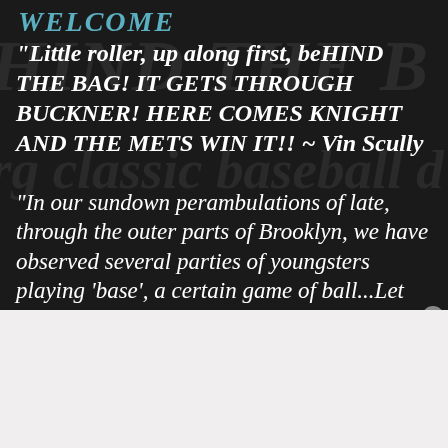WELCOME
“Little roller, up along first, beHIND THE BAG! IT GETS THROUGH BUCKNER! HERE COMES KNIGHT AND THE METS WIN IT!! ~ Vin Scully
“In our sundown perambulations of late, through the outer parts of Brooklyn, we have observed several parties of youngsters playing ‘base’, a certain game of ball...Let
Advertisements
[Figure (infographic): DuckDuckGo advertisement banner with orange background. Text reads: Search, browse, and email with more privacy. All in One Free App. Shows a phone with DuckDuckGo logo.]